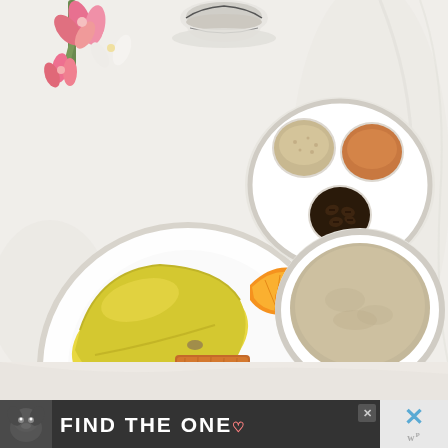[Figure (photo): Overhead/bird's-eye view of a breakfast tray on white fabric. On the left is a large white round plate with a yellow omelette and a brown hash-brown patty plus two orange wedges. On the upper right is a small white plate with three small white ramekins containing brown sugar, cinnamon/powder, and dark coffee beans. In the center-right is a large white bowl with grey-brown oatmeal/porridge. A coffee cup with saucer is at the top center. Pink and white flowers are in the upper left corner.]
[Figure (photo): Partial lower portion of the same breakfast tray scene showing white fabric/linens.]
[Figure (other): Advertisement banner with dark background featuring a dog (Staffordshire/pit bull type) on the left and bold white text reading 'FIND THE ONE' with a small heart icon. A close button (X) appears in the upper right of the ad. On the right side outside the ad is a larger blue X dismiss button and 'W' logo mark below it.]